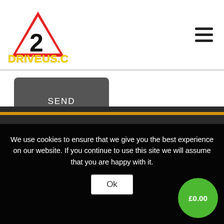[Figure (logo): drive2us.com logo with red warning triangle and yellow text]
[Figure (other): Hamburger menu icon (three horizontal lines)]
[Figure (other): SEND button, dark grey rounded rectangle with white uppercase text]
We use cookies to ensure that we give you the best experience on our website. If you continue to use this site we will assume that you are happy with it.
[Figure (other): Ok button, white rounded rectangle]
[Figure (other): Green circle badge showing £0.00]